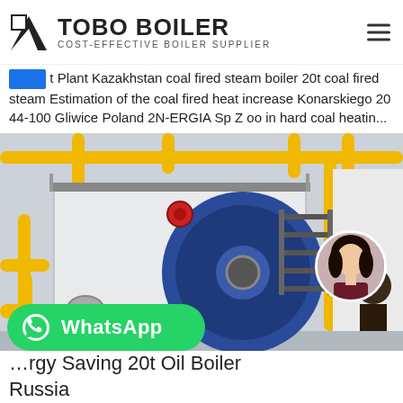TOBO BOILER — COST-EFFECTIVE BOILER SUPPLIER
…t Plant Kazakhstan coal fired steam boiler 20t coal fired steam Estimation of the coal fired heat increase Konarskiego 20 44-100 Gliwice Poland 2N-ERGIA Sp Z oo in hard coal heatin…
[Figure (photo): Industrial steam boiler with blue drum and yellow piping in a factory setting, with a worker visible on the right and a female customer service avatar circle in the bottom-right corner.]
[Figure (logo): WhatsApp button with green background, WhatsApp logo icon and 'WhatsApp' text in white]
…rgy Saving 20t Oil Boiler Russia